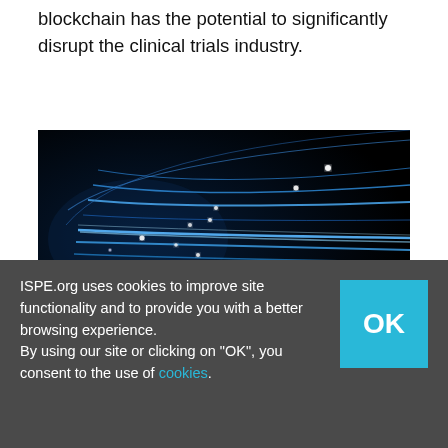blockchain has the potential to significantly disrupt the clinical trials industry.
[Figure (photo): Fiber optic strands with glowing blue light trails on dark background, representing data connectivity and blockchain technology.]
ISPE.org uses cookies to improve site functionality and to provide you with a better browsing experience.
By using our site or clicking on "OK", you consent to the use of cookies.